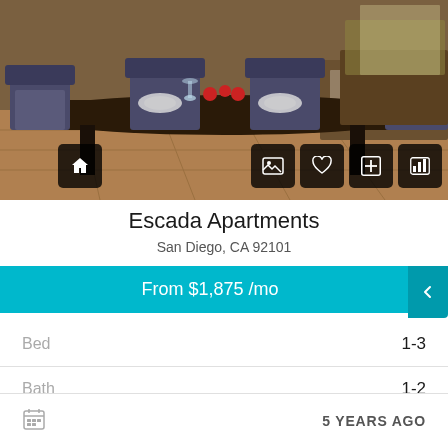[Figure (photo): Interior dining room photo showing a dark wood dining table with chairs and place settings, hardwood floor, and furniture in the background]
Escada Apartments
San Diego, CA 92101
From $1,875 /mo
|  |  |
| --- | --- |
| Bed | 1-3 |
| Bath | 1-2 |
| Pets | Cats, small dogs |
| Sq Ft | 730-2600 |
| Type | Apartments |
5 YEARS AGO